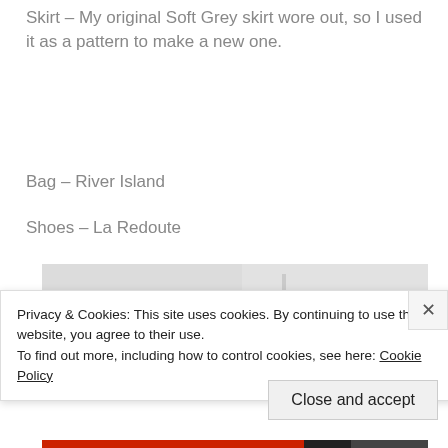Skirt – My original Soft Grey skirt wore out, so I used it as a pattern to make a new one.
Bag – River Island
Shoes – La Redoute
[Figure (photo): Partial photo of a person with dark curly hair, background appears to be an interior setting with light walls]
Privacy & Cookies: This site uses cookies. By continuing to use this website, you agree to their use.
To find out more, including how to control cookies, see here: Cookie Policy
Close and accept